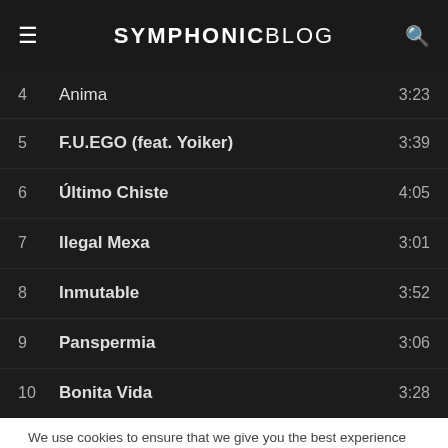SYMPHONIC BLOG
| # | Title | Duration |
| --- | --- | --- |
| 4 | Anima | 3:23 |
| 5 | F.U.EGO (feat. Yoiker) | 3:39 |
| 6 | Último Chiste | 4:05 |
| 7 | Ilegal Mexa | 3:01 |
| 8 | Inmutable | 3:52 |
| 9 | Panspermia | 3:06 |
| 10 | Bonita Vida | 3:28 |
We use cookies to ensure that we give you the best experience on our website. If you continue to use this site we will assume that you are happy with it.
If you decline, your information won't be tracked when you visit this website. A single cookie will be used in your browser to remember your preference not to be tracked.